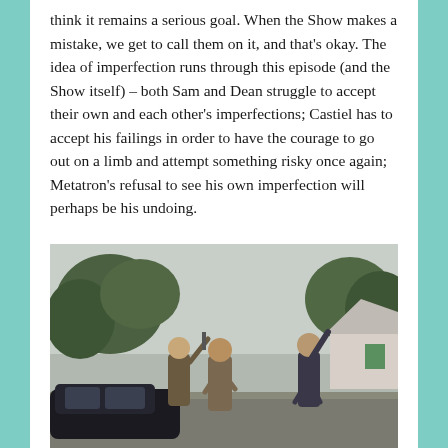think it remains a serious goal. When the Show makes a mistake, we get to call them on it, and that's okay. The idea of imperfection runs through this episode (and the Show itself) – both Sam and Dean struggle to accept their own and each other's imperfections; Castiel has to accept his failings in order to have the courage to go out on a limb and attempt something risky once again; Metatron's refusal to see his own imperfection will perhaps be his undoing.
[Figure (photo): Three people running/moving outdoors near a dark car, with trees and a suburban house in the background. Appears to be a scene from the TV show Supernatural.]